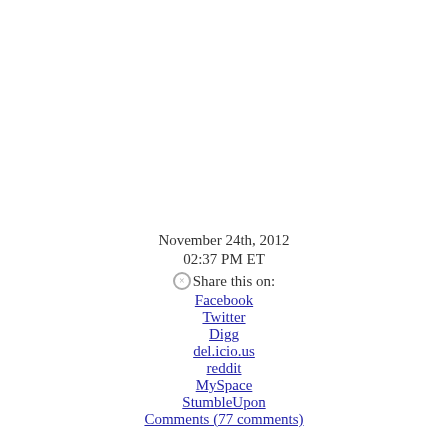November 24th, 2012
02:37 PM ET
⊗ Share this on:
Facebook
Twitter
Digg
del.icio.us
reddit
MySpace
StumbleUpon
Comments (77 comments)